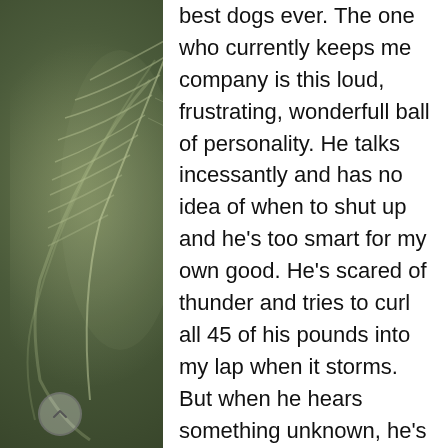[Figure (illustration): Dark olive-green background with a white feather or wing-like botanical illustration on the left side of the page]
best dogs ever. The one who currently keeps me company is this loud, frustrating, wonderfull ball of personality. He talks incessantly and has no idea of when to shut up and he's too smart for my own good. He's scared of thunder and tries to curl all 45 of his pounds into my lap when it storms. But when he hears something unknown, he's immediately at my side, barking and when we occasionally go to bed before the laundry is done, he insists on sleeping on the bed between me and the open doorway. It seems we take pretty good care of each other, even if we both could use a little more discipline. LOL!